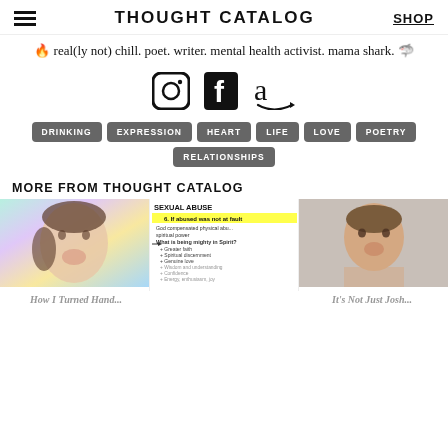THOUGHT CATALOG | SHOP
🔥 real(ly not) chill. poet. writer. mental health activist. mama shark. 🦈
[Figure (other): Social media icons: Instagram, Facebook, Amazon]
DRINKING
EXPRESSION
HEART
LIFE
LOVE
POETRY
RELATIONSHIPS
MORE FROM THOUGHT CATALOG
[Figure (photo): Woman with colorful rainbow light on face, smiling]
[Figure (screenshot): Document excerpt about sexual abuse with highlighted text: 'It abused was not at fault'. Mentions God compensated physical abuse, spiritual power, What is being mighty in Spirit? Greater faith, Spiritual discernment, Genuine love, etc.]
[Figure (photo): Headshot of a man with short hair]
How I Turned Hand...
It's Not Just Josh...